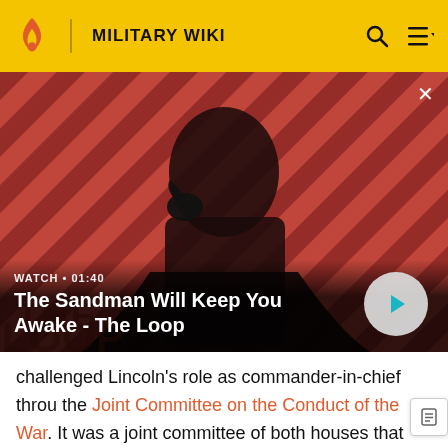MILITARY WIKI
[Figure (screenshot): Video banner showing The Sandman character with diagonal red and dark stripes background. Text overlay: WATCH • 01:40 / The Sandman Will Keep You Awake - The Loop. Play button on right.]
challenged Lincoln's role as commander-in-chief through the Joint Committee on the Conduct of the War. It was a joint committee of both houses that was dominated by Radicals who took a hard line against the Confederacy. During the 37th and 38th Congresses, it investigated